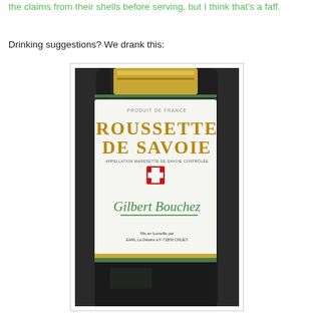the claims from their shells before serving, but I think that's a faff.
Drinking suggestions? We drank this:
[Figure (photo): A bottle of Roussette de Savoie wine by Gilbert Bouchez. The label reads 'PRODUIT DE FRANCE', 'ROUSSETTE DE SAVOIE', appellation contrôlée text, features the Savoie coat of arms (red and white cross), and is signed 'Gilbert Bouchez'. Bottom text reads 'Mis en bouteille par EARL La Détaire à F-73800 CRUET'.]